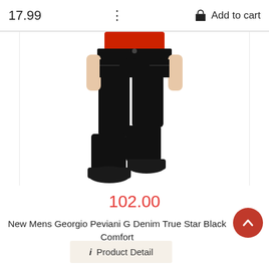17.99
[Figure (photo): Man wearing black slim-fit jeans with a red top, showing from waist down, wearing black boots. Product photo on white background.]
102.00
New Mens Georgio Peviani G Denim True Star Black Comfort Fit Jeans
Product Detail